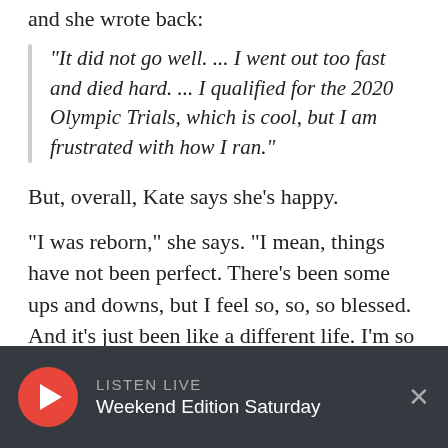and she wrote back:
"It did not go well. ... I went out too fast and died hard. ... I qualified for the 2020 Olympic Trials, which is cool, but I am frustrated with how I ran."
But, overall, Kate says she’s happy.
"I was reborn," she says. "I mean, things have not been perfect. There’s been some ups and downs, but I feel so, so, so blessed. And it’s just been like a different life. I’m so grateful to be where I am now."
This segment aired on January 13, 2018.
LISTEN LIVE
Weekend Edition Saturday